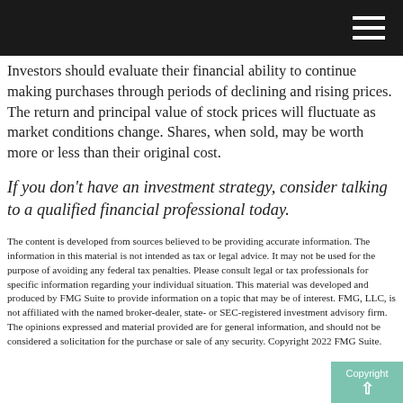Investors should evaluate their financial ability to continue making purchases through periods of declining and rising prices. The return and principal value of stock prices will fluctuate as market conditions change. Shares, when sold, may be worth more or less than their original cost.
If you don’t have an investment strategy, consider talking to a qualified financial professional today.
The content is developed from sources believed to be providing accurate information. The information in this material is not intended as tax or legal advice. It may not be used for the purpose of avoiding any federal tax penalties. Please consult legal or tax professionals for specific information regarding your individual situation. This material was developed and produced by FMG Suite to provide information on a topic that may be of interest. FMG, LLC, is not affiliated with the named broker-dealer, state- or SEC-registered investment advisory firm. The opinions expressed and material provided are for general information, and should not be considered a solicitation for the purchase or sale of any security. Copyright 2022 FMG Suite.